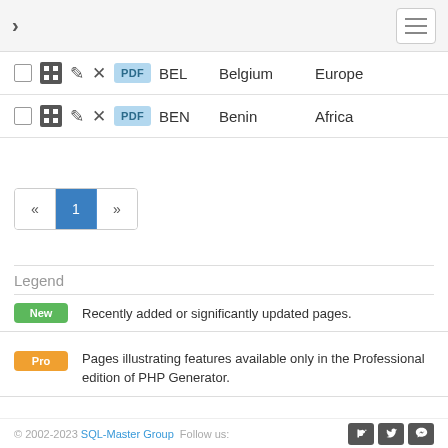> ☰
| ☐ | grid | ✎ | ✕ | PDF | BEL | Belgium | Europe |
| ☐ | grid | ✎ | ✕ | PDF | BEN | Benin | Africa |
« 1 »
Legend
New  Recently added or significantly updated pages.
Pro  Pages illustrating features available only in the Professional edition of PHP Generator.
© 2002-2023 SQL-Master Group  Follow us: